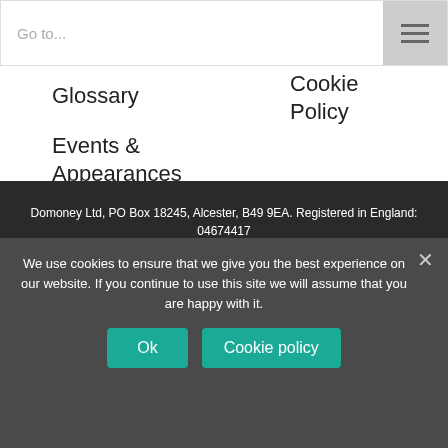Go to...
Glossary
Cookie Policy
Events & Appearances
Upcoming TV Shows
Sign Up
Domoney Ltd, PO Box 18245, Alcester, B49 9EA. Registered in England: 04674417
We use cookies to ensure that we give you the best experience on our website. If you continue to use this site we will assume that you are happy with it.